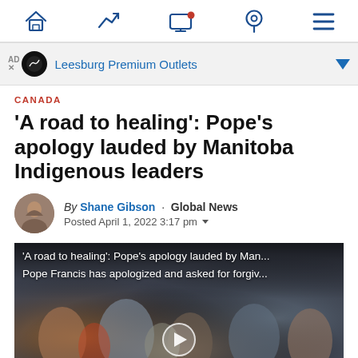Navigation bar with home, trending, monitor, location, and menu icons
[Figure (screenshot): Advertisement banner for Leesburg Premium Outlets]
CANADA
'A road to healing': Pope's apology lauded by Manitoba Indigenous leaders
By Shane Gibson · Global News
Posted April 1, 2022 3:17 pm
[Figure (screenshot): Video thumbnail showing crowd at event with overlay text: 'A road to healing': Pope's apology lauded by Man... / Pope Francis has apologized and asked for forgiv...]